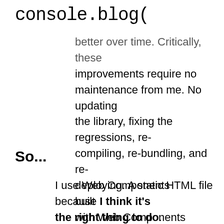console.blog(
better over time. Critically, these improvements require no maintenance from me. No updating the library, fixing the regressions, re-compiling, re-bundling, and re-deploying. A static HTML file built with Web Components inline will just get better over the years.
So...
I use Web Components because I think it's the right thing to do.